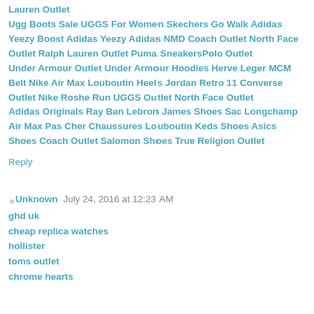Lauren Outlet Ugg Boots Sale UGGS For Women Skechers Go Walk Adidas Yeezy Boost Adidas Yeezy Adidas NMD Coach Outlet North Face Outlet Ralph Lauren Outlet Puma SneakersPolo Outlet Under Armour Outlet Under Armour Hoodies Herve Leger MCM Belt Nike Air Max Louboutin Heels Jordan Retro 11 Converse Outlet Nike Roshe Run UGGS Outlet North Face Outlet Adidas Originals Ray Ban Lebron James Shoes Sac Longchamp Air Max Pas Cher Chaussures Louboutin Keds Shoes Asics Shoes Coach Outlet Salomon Shoes True Religion Outlet
Reply
Unknown July 24, 2016 at 12:23 AM
ghd uk
cheap replica watches
hollister
toms outlet
chrome hearts